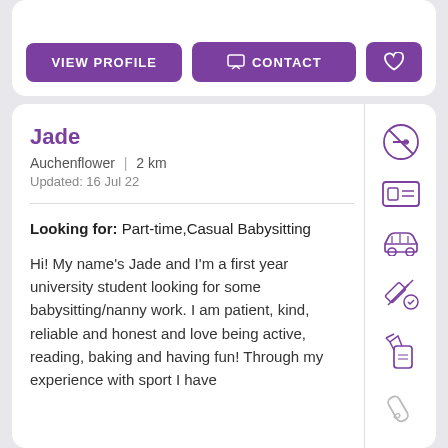[Figure (screenshot): Top card partial with VIEW PROFILE, CONTACT, and heart buttons]
Jade
Auchenflower | 2 km
Updated: 16 Jul 22
Looking for: Part-time,Casual Babysitting
Hi! My name's Jade and I'm a first year university student looking for some babysitting/nanny work. I am patient, kind, reliable and honest and love being active, reading, baking and having fun! Through my experience with sport I have